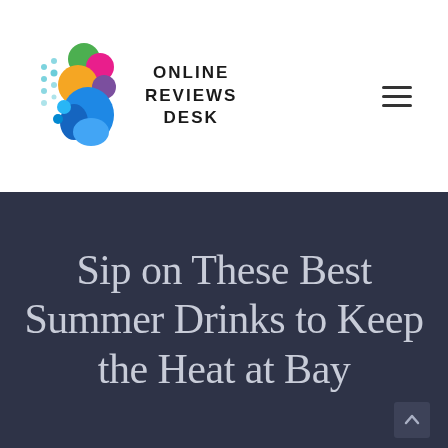[Figure (logo): Online Reviews Desk logo — colorful brain/head silhouette made of overlapping circles in green, magenta, yellow-orange, teal, and blue, with dots pattern on left side]
ONLINE REVIEWS DESK
Sip on These Best Summer Drinks to Keep the Heat at Bay